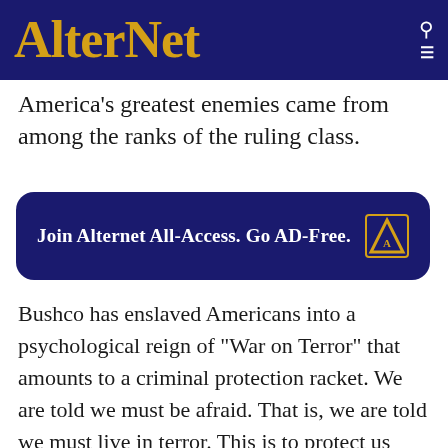AlterNet
America's greatest enemies came from among the ranks of the ruling class.
[Figure (other): AlterNet All-Access AD-Free promotional banner with navy blue rounded rectangle background and AlterNet logo icon]
Bushco has enslaved Americans into a psychological reign of "War on Terror" that amounts to a criminal protection racket. We are told we must be afraid. That is, we are told we must live in terror. This is to protect us from Ã¢â‚¬Â¦ terror. Then, because we feel terrified, we must give up our freedom -- freedom to